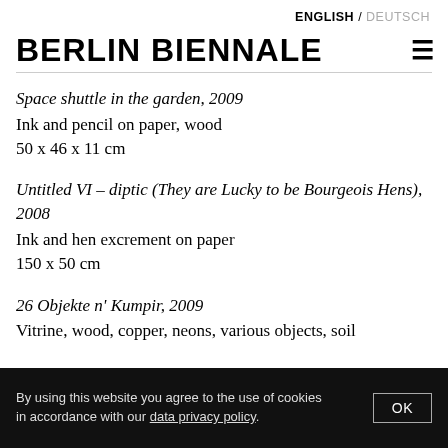ENGLISH / DEUTSCH
BERLIN BIENNALE
Space shuttle in the garden, 2009
Ink and pencil on paper, wood
50 x 46 x 11 cm
Untitled VI – diptic (They are Lucky to be Bourgeois Hens), 2008
Ink and hen excrement on paper
150 x 50 cm
26 Objekte n' Kumpir, 2009
Vitrine, wood, copper, neons, various objects, soil
By using this website you agree to the use of cookies in accordance with our data privacy policy.